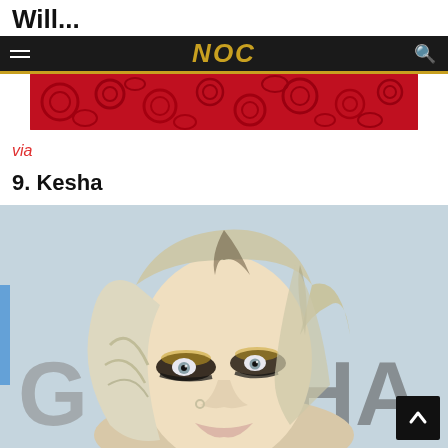Will...
NOC
[Figure (photo): Red lace fabric texture in crimson red tones, decorative floral/paisley pattern.]
via
9. Kesha
[Figure (photo): Close-up photo of Kesha with platinum blonde wavy hair and heavy dark smoky eye makeup (gold and black eyeshadow), nose ring, against a light blue background with partial text 'G' and 'HA' visible.]